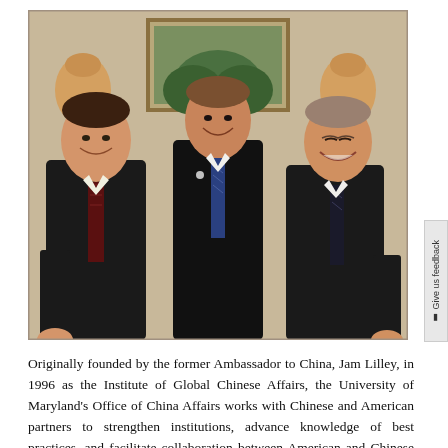[Figure (photo): Black and white photo of three men in dark suits standing together and smiling, with decorative vases and a painting visible in the background, likely taken in a formal government or official setting.]
Originally founded by the former Ambassador to China, James Lilley, in 1996 as the Institute of Global Chinese Affairs, the University of Maryland's Office of China Affairs works with Chinese and American partners to strengthen institutions, advance knowledge of best practices, and facilitate collaboration between American and Chinese professionals working in the public interest. We are the only training facility at the University of Maryland that has a partnership with China's State